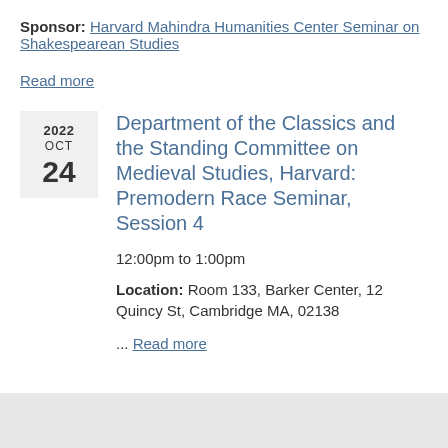Sponsor: Harvard Mahindra Humanities Center Seminar on Shakespearean Studies
Read more
Department of the Classics and the Standing Committee on Medieval Studies, Harvard: Premodern Race Seminar, Session 4
12:00pm to 1:00pm
Location: Room 133, Barker Center, 12 Quincy St, Cambridge MA, 02138
... Read more